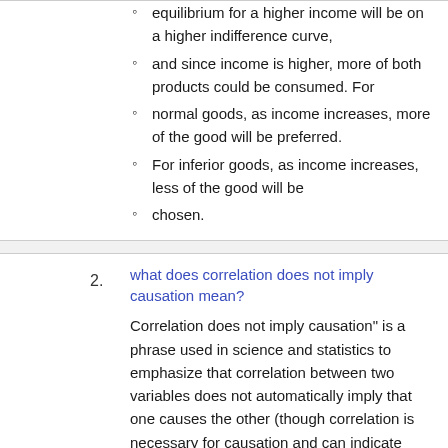equilibrium for a higher income will be on a higher indifference curve,
and since income is higher, more of both products could be consumed. For
normal goods, as income increases, more of the good will be preferred.
For inferior goods, as income increases, less of the good will be
chosen.
what does correlation does not imply causation mean?
Correlation does not imply causation" is a phrase used in science and statistics to emphasize that correlation between two variables does not automatically imply that one causes the other (though correlation is necessary for causation and can indicate possible causes or areas for further investigation)
why is there a deadweight loss associated with sales tax?